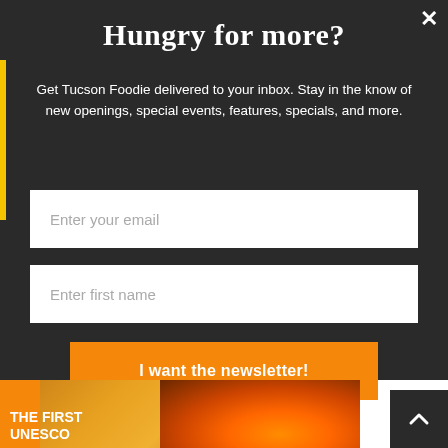Hungry for more?
Get Tucson Foodie delivered to your inbox. Stay in the know of new openings, special events, features, specials, and more.
[Figure (screenshot): Email input field with placeholder text 'Enter your email']
[Figure (screenshot): Name input field with placeholder text 'Enter first name']
[Figure (screenshot): Orange CTA button labeled 'I want the newsletter!']
[Figure (photo): Partial image at bottom showing 'THE FIRST UNESCO' text overlay on a photo of a person near fire, with orange accent bar on left side]